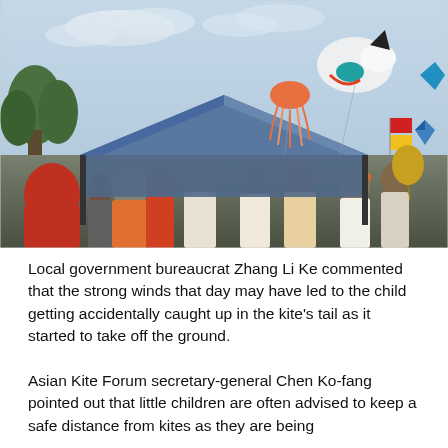[Figure (photo): Outdoor kite festival scene with a crowd of people gathered under and around a large blue canopy tent. Several colorful kites are flying in the sky above, including a large novelty kite shaped like an animal. The sky is partly cloudy. Trees are visible in the background on the left.]
Local government bureaucrat Zhang Li Ke commented that the strong winds that day may have led to the child getting accidentally caught up in the kite's tail as it started to take off the ground.
Asian Kite Forum secretary-general Chen Ko-fang pointed out that little children are often advised to keep a safe distance from kites as they are being